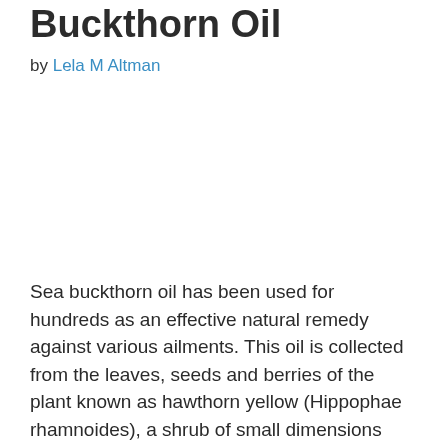Buckthorn Oil
by Lela M Altman
Sea buckthorn oil has been used for hundreds as an effective natural remedy against various ailments. This oil is collected from the leaves, seeds and berries of the plant known as hawthorn yellow (Hippophae rhamnoides), a shrub of small dimensions native to the northern Himalayas. From its